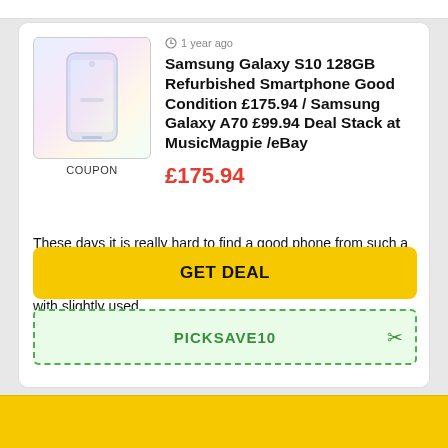[Figure (photo): Samsung Galaxy S10 phone product image thumbnail with light gradient background]
COUPON
1 year ago
Samsung Galaxy S10 128GB Refurbished Smartphone Good Condition £175.94 / Samsung Galaxy A70 £99.94 Deal Stack at MusicMagpie /eBay
£175.94
These days it is really hard to find a good phone from such a well-known brand as Samsung at a more affordable rate. That's where sites like eBay come in handy, by providing you with slightly used ...
GET DEAL
PICKSAVE10